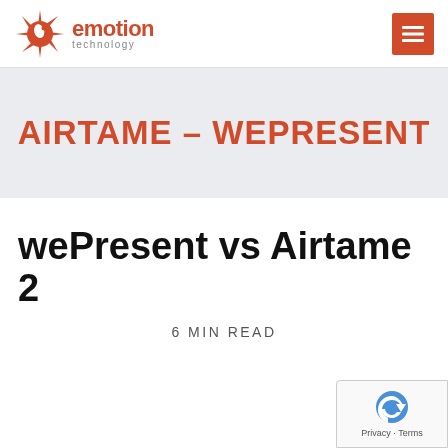[Figure (logo): Emotion Technology logo: stylized red starburst icon with text 'emotion technology']
[Figure (logo): Hamburger menu button (red background with three white horizontal lines)]
AIRTAME – WEPRESENT
wePresent vs Airtame 2
6 MIN READ
[Figure (logo): Google reCAPTCHA badge with blue shield icon and 'Privacy - Terms' text]